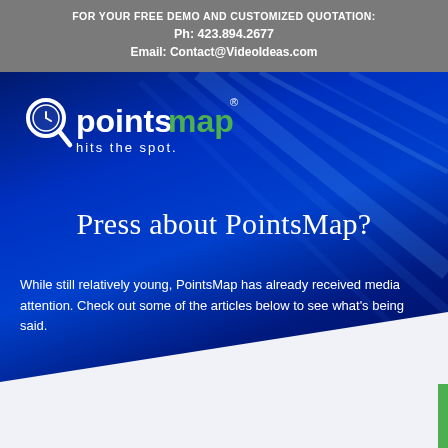FOR YOUR FREE DEMO AND CUSTOMIZED QUOTATION:
Ph: 423.894.2677
Email: Contact@VideoIdeas.com
[Figure (logo): PointsMap logo with magnifying glass icon, white text 'pointsmap' with green 'map', and tagline 'hits the spot.' on dark blue background with diagonal light streaks]
Press about PointsMap?
While still relatively young, PointsMap has already received media attention. Check out some of the articles below to see what's being said.